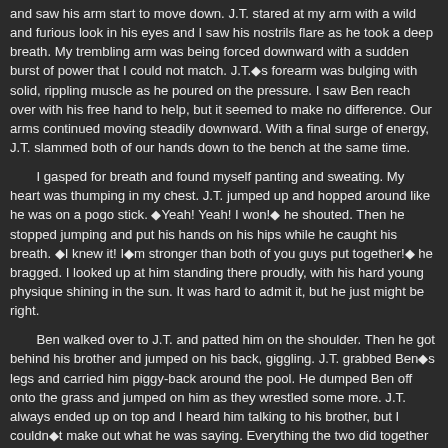and saw his arm start to move down. J.T. stared at my arm with a wild and furious look in his eyes and I saw his nostrils flare as he took a deep breath. My trembling arm was being forced downward with a sudden burst of power that I could not match. J.T.◆s forearm was bulging with solid, rippling muscle as he poured on the pressure. I saw Ben reach over with his free hand to help, but it seemed to make no difference. Our arms continued moving steadily downward. With a final surge of energy, J.T. slammed both of our hands down to the bench at the same time.
I gasped for breath and found myself panting and sweating. My heart was thumping in my chest. J.T. jumped up and hopped around like he was on a pogo stick. ◆Yeah! Yeah! I won!◆ he shouted. Then he stopped jumping and put his hands on his hips while he caught his breath. ◆I knew it! I◆m stronger than both of you guys put together!◆ he bragged. I looked up at him standing there proudly, with his hard young physique shining in the sun. It was hard to admit it, but he just might be right.
Ben walked over to J.T. and patted him on the shoulder. Then he got behind his brother and jumped on his back, giggling. J.T. grabbed Ben◆s legs and carried him piggy-back around the pool. He dumped Ben off onto the grass and jumped on him as they wrestled some more. J.T. always ended up on top and I heard him talking to his brother, but I couldn◆t make out what he was saying. Everything the two did together seemed to reinforce the idea that J.T. was the dominant brother. Ben appeared not only to accept this relationship, but to enjoy it.
I sat down at the poolside table under the umbrella. Ben jumped up and ran from his brother, but it wasn◆t much of a chase. J.T. was much faster than Ben. He caught him quickly, picked him up, and tossed him into the pool again. Ben swam over to the ladder and climbed out.
◆Hey, J.T.!◆ he yelled. ◆You almost broke this ladder. Lookit how loose you made it!◆